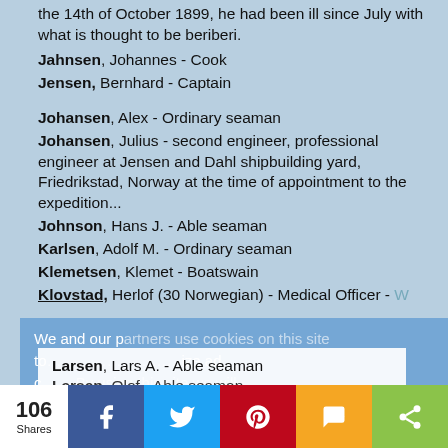the 14th of October 1899, he had been ill since July with what is thought to be beriberi.
Jahnsen, Johannes - Cook
Jensen, Bernhard - Captain
Johansen, Alex - Ordinary seaman
Johansen, Julius - second engineer, professional engineer at Jensen and Dahl shipbuilding yard, Friedrikstad, Norway at the time of appointment to the expedition...
Johnson, Hans J. - Able seaman
Karlsen, Adolf M. - Ordinary seaman
Klemetsen, Klemet - Boatswain
Klovstad, Herlof (30 Norwegian) - Medical Officer - W
Larsen, Lars A. - Able seaman
Larsen, Olof - Able seaman
We and our partners use cookies on this site to... personalize ad content. By using this site we will assume that you are happy with this.
106 Shares | Facebook | Twitter | Pinterest | SMS | Share